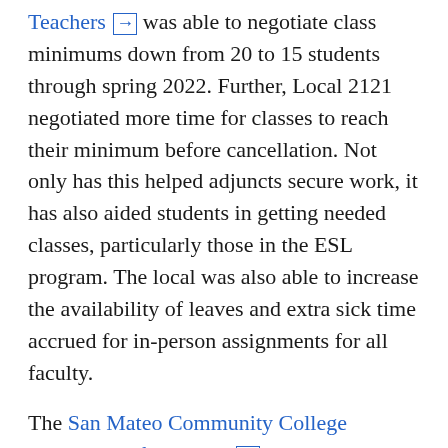Teachers was able to negotiate class minimums down from 20 to 15 students through spring 2022. Further, Local 2121 negotiated more time for classes to reach their minimum before cancellation. Not only has this helped adjuncts secure work, it has also aided students in getting needed classes, particularly those in the ESL program. The local was also able to increase the availability of leaves and extra sick time accrued for in-person assignments for all faculty.
The San Mateo Community College Federation of Teachers, and numerous other locals, have sought to protect adjunct seniority rights by forming partnership agreements...